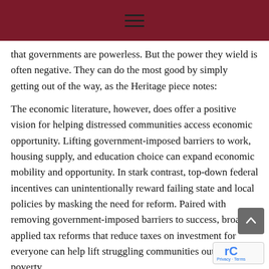☰
that governments are powerless. But the power they wield is often negative. They can do the most good by simply getting out of the way, as the Heritage piece notes:
The economic literature, however, does offer a positive vision for helping distressed communities access economic opportunity. Lifting government-imposed barriers to work, housing supply, and education choice can expand economic mobility and opportunity. In stark contrast, top-down federal incentives can unintentionally reward failing state and local policies by masking the need for reform. Paired with removing government-imposed barriers to success, broadly applied tax reforms that reduce taxes on investment for everyone can help lift struggling communities out of poverty.
Pundits and policymakers, like former Kansas City Star